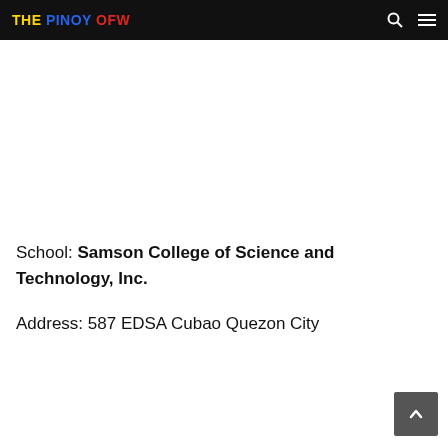THE PINOY OFW
School: Samson College of Science and Technology, Inc.
Address: 587 EDSA Cubao Quezon City